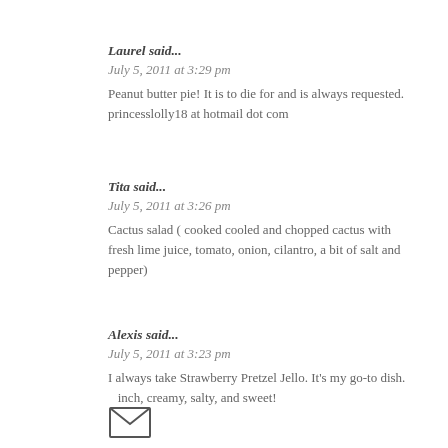Laurel said...
July 5, 2011 at 3:29 pm
Peanut butter pie! It is to die for and is always requested.
princesslolly18 at hotmail dot com
Tita said...
July 5, 2011 at 3:26 pm
Cactus salad ( cooked cooled and chopped cactus with fresh lime juice, tomato, onion, cilantro, a bit of salt and pepper)
Alexis said...
July 5, 2011 at 3:23 pm
I always take Strawberry Pretzel Jello. It's my go-to dish. inch, creamy, salty, and sweet!
[Figure (illustration): Envelope icon (mail symbol) shown as a simple line drawing of a letter/envelope]